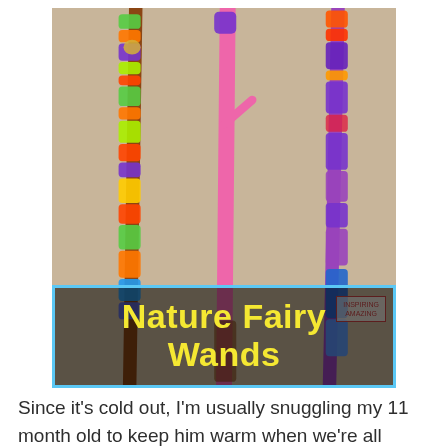[Figure (photo): Three decorated fairy wands made from natural sticks wrapped in colorful yarn — green/multicolor, pink painted, and purple — displayed against a tan/kraft paper background. A yellow text overlay reads 'Nature Fairy Wands' inside a blue-bordered box.]
Since it's cold out, I'm usually snuggling my 11 month old to keep him warm when we're all outside and not much